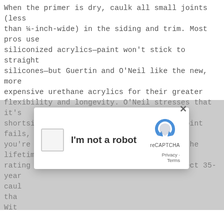When the primer is dry, caulk all small joints (less than ¼-inch-wide) in the siding and trim. Most pros use siliconized acrylics—paint won't stick to straight silicones—but Guertin and O'Neil like the new, more expensive urethane acrylics for their greater flexibility and longevity. O'Neil stresses that it's shortsighted to skimp on caulk. "If the joint fails, you're back to square one." Guertin uses the lifetime rating as his quality guide. "I don't expect 35-year caul... tha... Wit... our ha...
[Figure (screenshot): reCAPTCHA modal dialog with checkbox labeled 'I'm not a robot', reCAPTCHA logo, Privacy and Terms links, and a close (X) button in top right corner.]
Prepping a house costs anywhere from $0.50 to $2.50 per square foot. This is almost always included in the total project price. However, the DIYer might negotiate some discounts for completing this work on their own. Be warned, proper prep is key to the quality and durability of the finish. If you do this work yourself, the contractor might no guarantee to finished product.
House Painting Arvada CO
You can paint much more than just your walls. Acrylic paints are ideal for home decor and craft projects. Since they're water-based, they clean up easily and dry